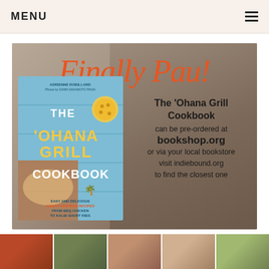MENU
[Figure (photo): Promotional banner for The 'Ohana Grill Cookbook showing cookbook cover on left with script text 'Finally Pau!' in orange at top and promotional ordering text on right, with grilled food in background]
The 'Ohana Grill Cookbook can be pre-ordered at bookshop.org or via your local bookstore visit indiebound.org to find the closest one
[Figure (photo): Bottom strip of five food photography thumbnail images showing various grilled and cooked dishes]